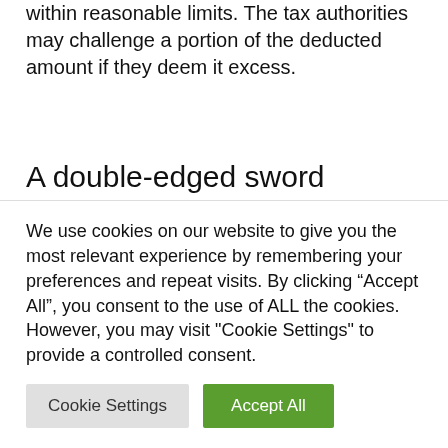within reasonable limits. The tax authorities may challenge a portion of the deducted amount if they deem it excess.
A double-edged sword
The allowance works according to the communication ship system: it constitutes a tax deductible from the income of the person who pays it and constitutes taxable income
We use cookies on our website to give you the most relevant experience by remembering your preferences and repeat visits. By clicking “Accept All”, you consent to the use of ALL the cookies. However, you may visit "Cookie Settings" to provide a controlled consent.